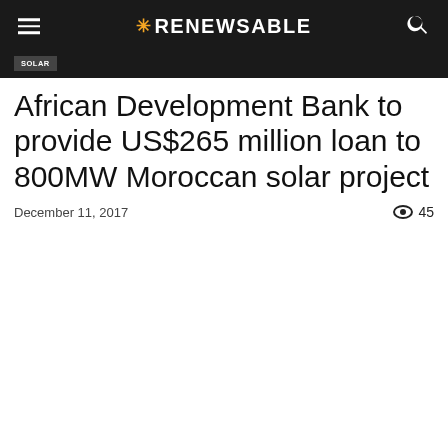RENEWABLE
African Development Bank to provide US$265 million loan to 800MW Moroccan solar project
December 11, 2017   45